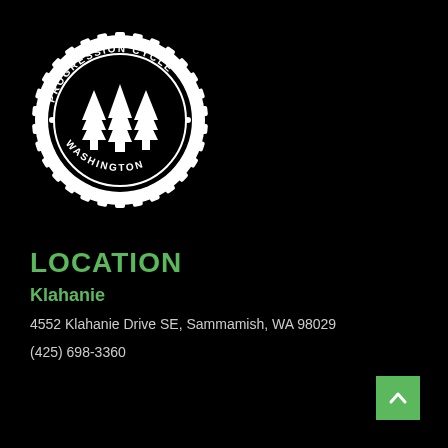[Figure (logo): Progression Cycle Washington circular gear logo with three pine trees in the center, black and white]
LOCATION
Klahanie
4552 Klahanie Drive SE, Sammamish, WA 98029
(425) 698-3360